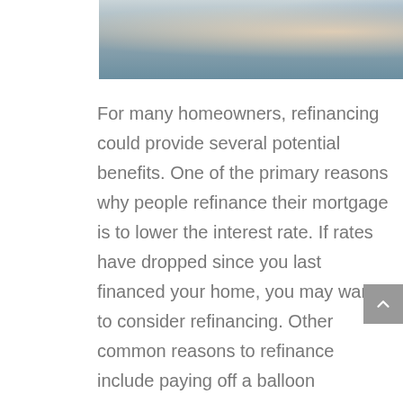[Figure (photo): Partial photo of two people sitting, showing hands and lower body, with blue jeans visible, likely a couple discussing finances or home matters.]
For many homeowners, refinancing could provide several potential benefits. One of the primary reasons why people refinance their mortgage is to lower the interest rate. If rates have dropped since you last financed your home, you may want to consider refinancing. Other common reasons to refinance include paying off a balloon payment, converting an adjustable rate loan to a fixed rate loan, or being able to extract cash equity from your home (cash out). Sometimes homeowners cash out to make home improvements, to create an education fund, or consolidate debt. The exact reasons why someone should refinance may vary and should be considered carefully. However, choosing the right time to